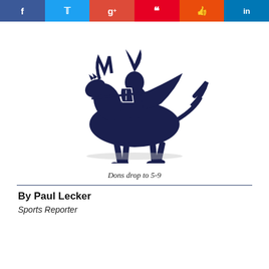[Figure (illustration): Social media share buttons row: Facebook (blue), Twitter (light blue), Google+ (red), Pinterest (red), StumbleUpon (orange), LinkedIn (blue)]
[Figure (illustration): Dark navy blue illustration of a knight in armor riding a galloping horse, holding a lance and shield with a cross, flowing cape behind.]
Dons drop to 5-9
By Paul Lecker
Sports Reporter